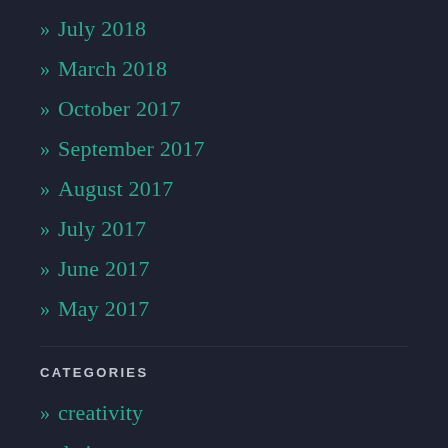» July 2018
» March 2018
» October 2017
» September 2017
» August 2017
» July 2017
» June 2017
» May 2017
CATEGORIES
» creativity
» dating
» Family